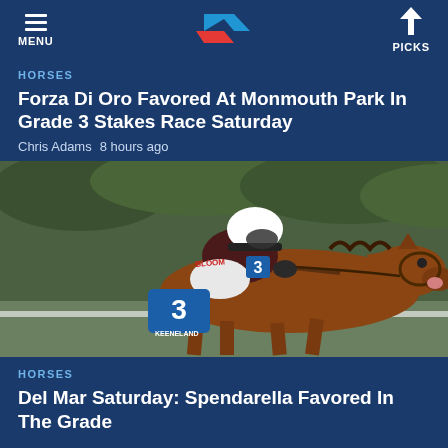MENU | [logo] | PICKS
HORSES
Forza Di Oro Favored At Monmouth Park In Grade 3 Stakes Race Saturday
Chris Adams  8 hours ago
[Figure (photo): Jockey wearing number 3 riding a brown racehorse at Keeneland racetrack, close-up action photo]
HORSES
Del Mar Saturday: Spendarella Favored In The Grade